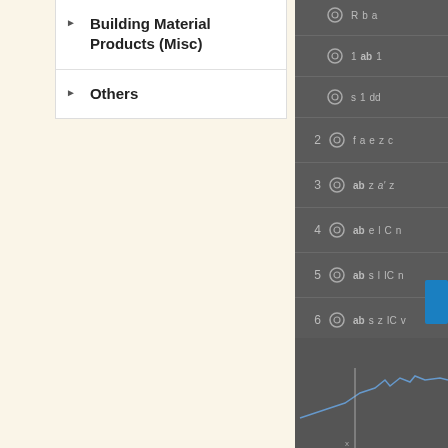Building Material Products (Misc)
Others
[Figure (screenshot): Partially visible dark-themed data table with numbered rows (2-7), circular icons, and text data columns, with a blue button element and a line chart at the bottom]